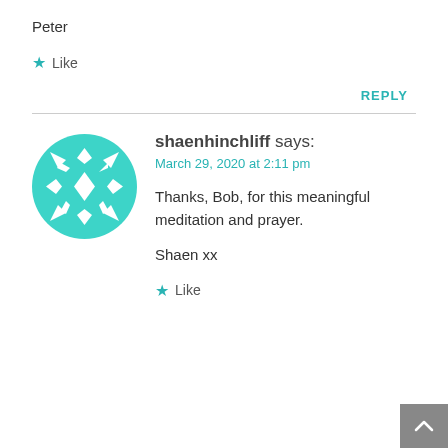Peter
★ Like
REPLY
shaenhinchliff says:
March 29, 2020 at 2:11 pm
Thanks, Bob, for this meaningful meditation and prayer.
Shaen xx
★ Like